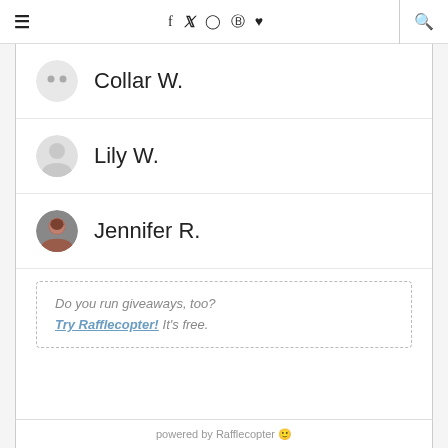≡  f  𝕏  ◎  𝕡  ♥  🔍
Collar W.
Lily W.
Jennifer R.
Do you run giveaways, too? Try Rafflecopter! It's free.
powered by Rafflecopter